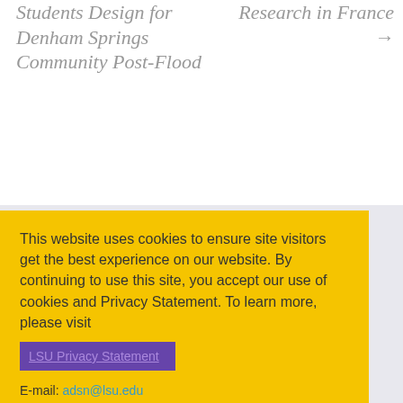Students Design for Denham Springs Community Post-Flood
Research in France →
This website uses cookies to ensure site visitors get the best experience on our website. By continuing to use this site, you accept our use of cookies and Privacy Statement. To learn more, please visit LSU Privacy Statement
I agree
E-mail: adsn@lsu.edu